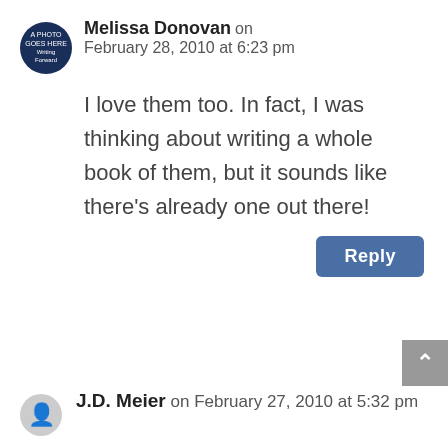Melissa Donovan on February 28, 2010 at 6:23 pm
I love them too. In fact, I was thinking about writing a whole book of them, but it sounds like there's already one out there!
Reply
J.D. Meier on February 27, 2010 at 5:32 pm
#6 gets my imagination going … every now and then I wonder what